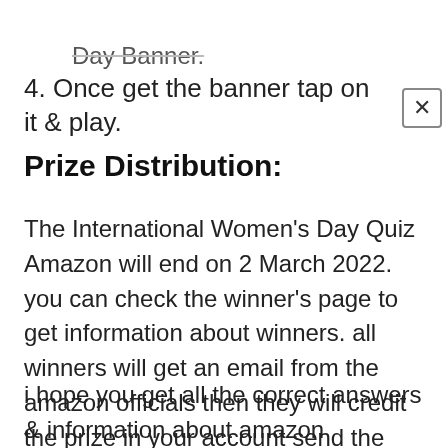Day Banner.
4. Once get the banner tap on it & play.
Prize Distribution:
The International Women's Day Quiz Amazon will end on 2 March 2022. you can check the winner's page to get information about winners. all winners will get an email from the amazon officials then they will credit the prize in your account send the winning product to your registered address.
i hope you get all the correct answers & information about amazon International Women's Day quiz.